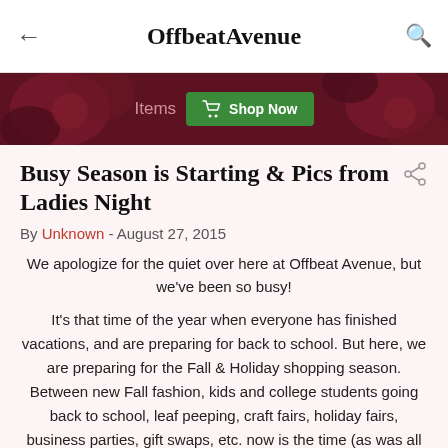OffbeatAvenue
[Figure (illustration): Dark red floral banner with 'Items' text and a green 'Shop Now' button with cart icon]
Busy Season is Starting & Pics from Ladies Night
By Unknown - August 27, 2015
We apologize for the quiet over here at Offbeat Avenue, but we've been so busy!
It's that time of the year when everyone has finished vacations, and are preparing for back to school. But here, we are preparing for the Fall & Holiday shopping season. Between new Fall fashion, kids and college students going back to school, leaf peeping, craft fairs, holiday fairs, business parties, gift swaps, etc. now is the time (as was all Summer, but now